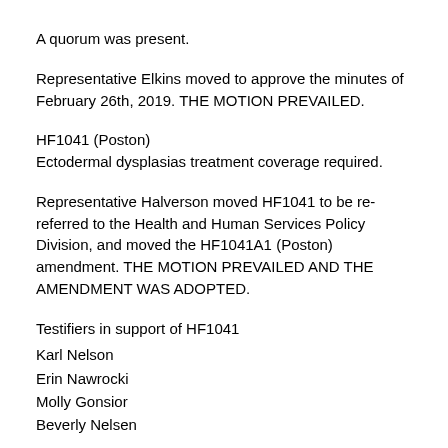A quorum was present.
Representative Elkins moved to approve the minutes of February 26th, 2019. THE MOTION PREVAILED.
HF1041 (Poston)
Ectodermal dysplasias treatment coverage required.
Representative Halverson moved HF1041 to be re-referred to the Health and Human Services Policy Division, and moved the HF1041A1 (Poston) amendment. THE MOTION PREVAILED AND THE AMENDMENT WAS ADOPTED.
Testifiers in support of HF1041
Karl Nelson
Erin Nawrocki
Molly Gonsior
Beverly Nelsen
Representative Halverson renewed the motion for HF1041 to be re-referred, as amended, to the Health and Human Services